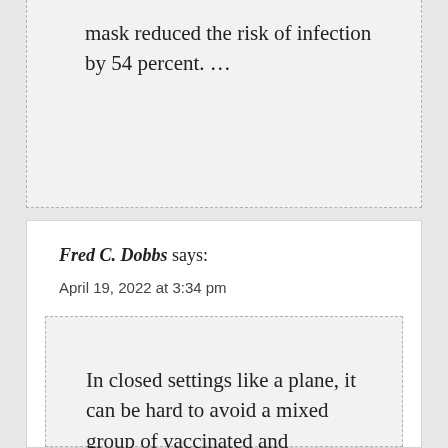mask reduced the risk of infection by 54 percent. …
Fred C. Dobbs says:
April 19, 2022 at 3:34 pm
In closed settings like a plane, it can be hard to avoid a mixed group of vaccinated and unvaccinated people, symptomatic or asymptomatic people, all of whom may transmit the